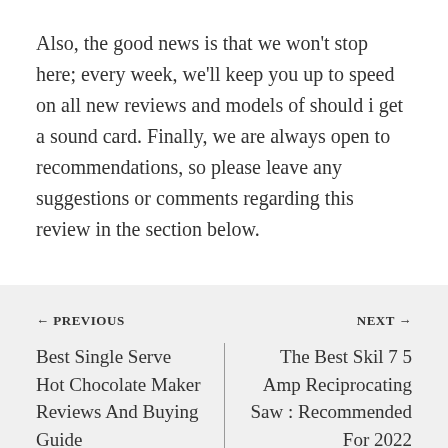Also, the good news is that we won't stop here; every week, we'll keep you up to speed on all new reviews and models of should i get a sound card. Finally, we are always open to recommendations, so please leave any suggestions or comments regarding this review in the section below.
← PREVIOUS
NEXT →
Best Single Serve Hot Chocolate Maker Reviews And Buying Guide
The Best Skil 7 5 Amp Reciprocating Saw : Recommended For 2022